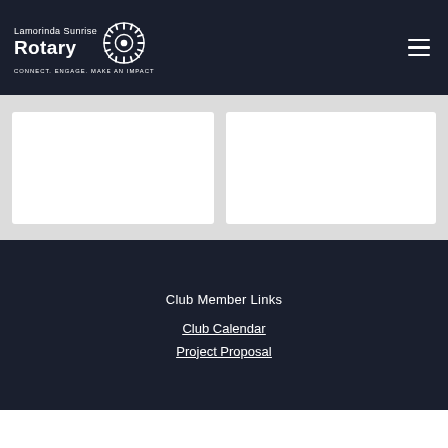Lamorinda Sunrise Rotary — CONNECT. ENGAGE. MAKE AN IMPACT
[Figure (other): Two white content boxes on a light gray background]
Club Member Links
Club Calendar
Project Proposal